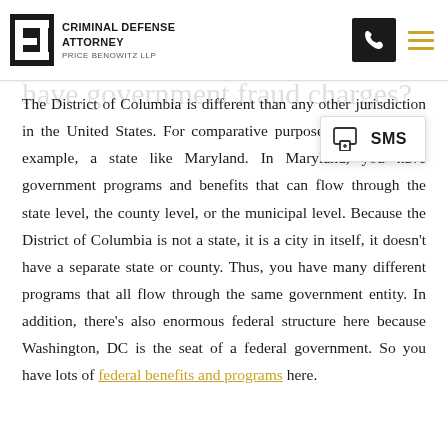CRIMINAL DEFENSE ATTORNEY — Price Benowitz LLP
What are the different government programs where you have government fraud charges?
The District of Columbia is different than any other jurisdiction in the United States. For comparative purposes, let's take, for example, a state like Maryland. In Maryland, you have government programs and benefits that can flow through the state level, the county level, or the municipal level. Because the District of Columbia is not a state, it is a city in itself, it doesn't have a separate state or county. Thus, you have many different programs that all flow through the same government entity. In addition, there's also enormous federal structure here because Washington, DC is the seat of a federal government. So you have lots of federal benefits and programs here.